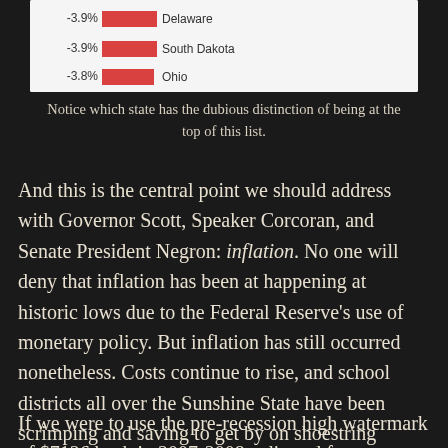[Figure (bar-chart): Partial bar chart snippet showing negative percentage values for Delaware (-3.9%), South Dakota (-3.9%), and Ohio (-3.8%) with red horizontal bars]
Notice which state has the dubious distinction of being at the top of this list.
And this is the central point we should address with Governor Scott, Speaker Corcoran, and Senate President Negron: inflation. No one will deny that inflation has been at happening at historic lows due to the Federal Reserve's use of monetary policy. But inflation has still occurred nonetheless. Costs continue to rise, and school districts all over the Sunshine State have been scrimping and saving to get by on shoestring budgets passed by the Florida Legislature during the last decade.
If we were to use the pre-recession high watermark of $7126 back in 2007-2008, adjusted for